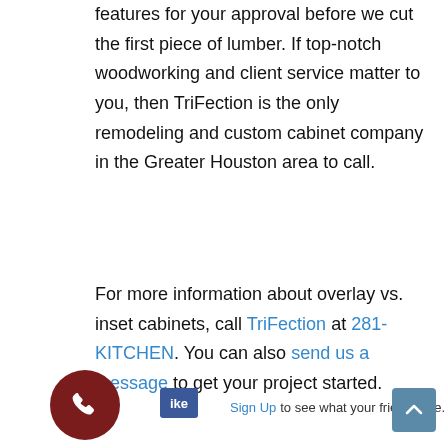features for your approval before we cut the first piece of lumber. If top-notch woodworking and client service matter to you, then TriFection is the only remodeling and custom cabinet company in the Greater Houston area to call.
For more information about overlay vs. inset cabinets, call TriFection at 281-KITCHEN. You can also send us a message to get your project started.
[Figure (other): Facebook-style social bar with Like button, Sign Up link, phone call button, and scroll-to-top arrow button]